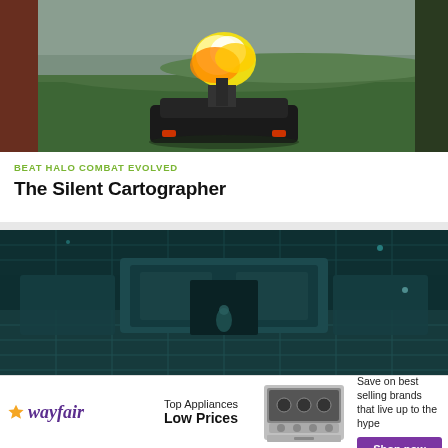[Figure (photo): Screenshot from Halo Combat Evolved showing a dark vehicle (Warthog or similar) on a green grassy field with a bright yellow-white explosion or fire above it. Left side shows a tree trunk in red-brown, right side shows dark foliage. Background is a grey-green landscape.]
BEAT HALO COMBAT EVOLVED
The Silent Cartographer
[Figure (photo): Screenshot from Halo Combat Evolved showing a dark teal/green interior room or chamber. There appears to be a large structure or platform in the center with a figure standing before it. The room has a geometric, alien architectural style with teal grid-like walls and ceiling.]
[Figure (other): Wayfair advertisement banner. Shows Wayfair logo with purple star icon and italic text, 'Top Appliances Low Prices' text, an image of a stainless steel range/oven, and 'Save on best selling brands that live up to the hype' with a purple 'Shop now' button.]